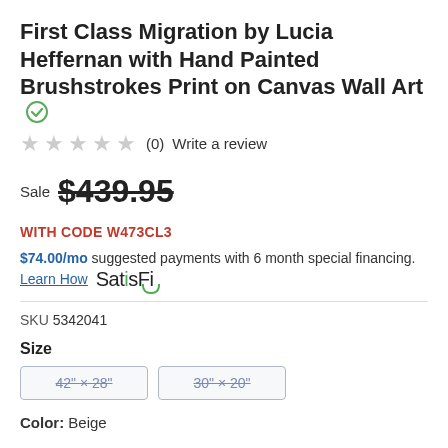First Class Migration by Lucia Heffernan with Hand Painted Brushstrokes Print on Canvas Wall Art
★★★★★ (0) Write a review
Sale $439.95
WITH CODE W473CL3
$74.00/mo suggested payments with 6 month special financing.
Learn How  SatisFi
SKU 5342041
Size
42" x 28"  30" x 20"
Color: Beige